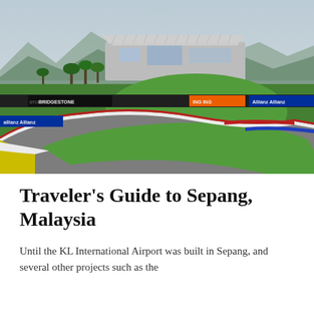[Figure (photo): Aerial view of Sepang International Circuit in Malaysia showing the distinctive colorful curb markings (yellow, white, red, blue) on the racing track corners, grandstands, pit buildings, and sponsor banners including Bridgestone, ING, and Allianz. Mountains and trees visible in the background.]
Traveler's Guide to Sepang, Malaysia
Until the KL International Airport was built in Sepang, and several other projects such as the